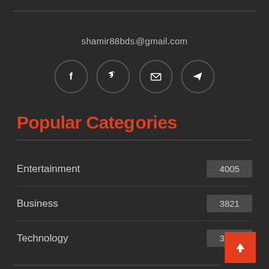shamir88bds@gmail.com
[Figure (infographic): Four circular social media icon buttons: Facebook (f), Twitter (bird), Email (envelope), Telegram (paper plane). Dark background with grey circle outlines and white icons.]
Popular Categories
Entertainment  4005
Business  3821
Technology  3368